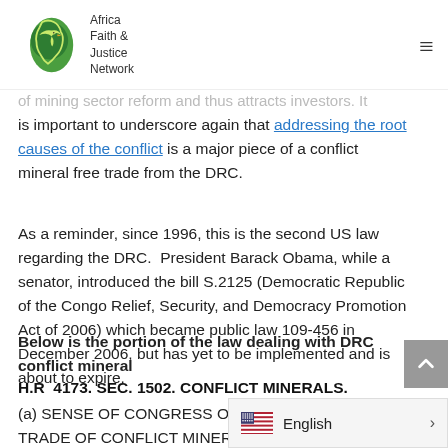Africa Faith & Justice Network
of mining sector reform and thus attracts investors. It is important to underscore again that addressing the root causes of the conflict is a major piece of a conflict mineral free trade from the DRC.
As a reminder, since 1996, this is the second US law regarding the DRC.  President Barack Obama, while a senator, introduced the bill S.2125 (Democratic Republic of the Congo Relief, Security, and Democracy Promotion Act of 2006) which became public law 109-456 in December 2006, but has yet to be implemented and is about to expire.
Below is the portion of the law dealing with DRC conflict mineral
H.R  4173. SEC. 1502. CONFLICT MINERALS.
(a) SENSE OF CONGRESS ON EXPLOITATION AND TRADE OF CONFLICT MINERALS